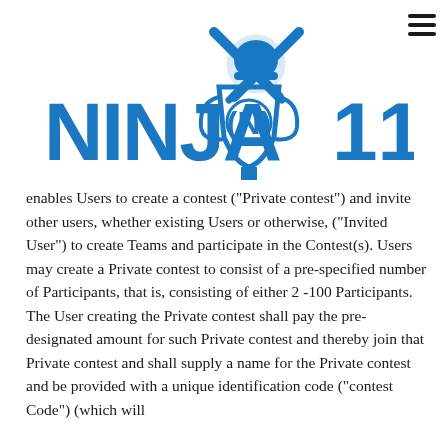[Figure (logo): Ninja11 fantasy cricket logo with trophy and crossed cricket bats, blue color scheme]
enables Users to create a contest ("Private contest") and invite other users, whether existing Users or otherwise, ("Invited User") to create Teams and participate in the Contest(s). Users may create a Private contest to consist of a pre-specified number of Participants, that is, consisting of either 2 -100 Participants. The User creating the Private contest shall pay the pre-designated amount for such Private contest and thereby join that Private contest and shall supply a name for the Private contest and be provided with a unique identification code ("contest Code") (which will